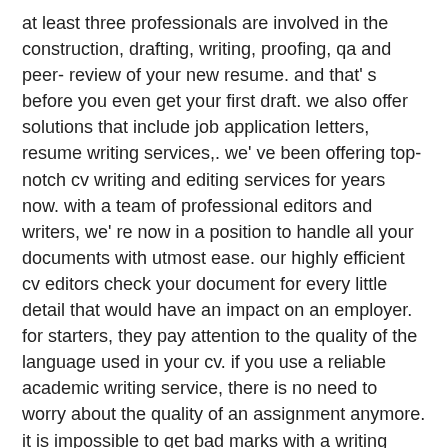at least three professionals are involved in the construction, drafting, writing, proofing, qa and peer- review of your new resume. and that' s before you even get your first draft. we also offer solutions that include job application letters, resume writing services,. we' ve been offering top- notch cv writing and editing services for years now. with a team of professional editors and writers, we' re now in a position to handle all your documents with utmost ease. our highly efficient cv editors check your document for every little detail that would have an impact on an employer. for starters, they pay attention to the quality of the language used in your cv. if you use a reliable academic writing service, there is no need to worry about the quality of an assignment anymore. it is impossible to get bad marks with a writing service. affordable prices. our service isn' t expensive.
so even non- working students will be able to pay for academic paper. choosing our writing company, you get not only high- quality assignments, but you will have a chance. in